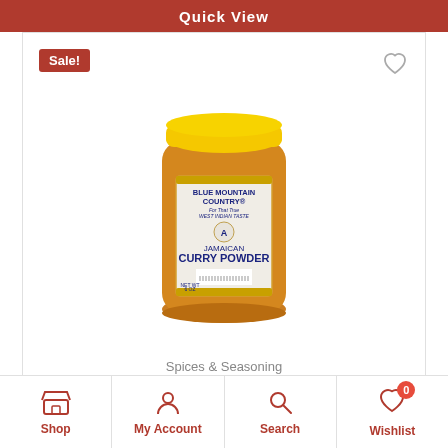Quick View
[Figure (photo): Blue Mountain Country Jamaican Curry Powder 6oz spice jar with yellow lid and orange/amber jar body, white label with blue text]
Sale!
Spices & Seasoning
Blue Mountain Curry Mild – 6oz
Shop | My Account | Search | Wishlist (0)